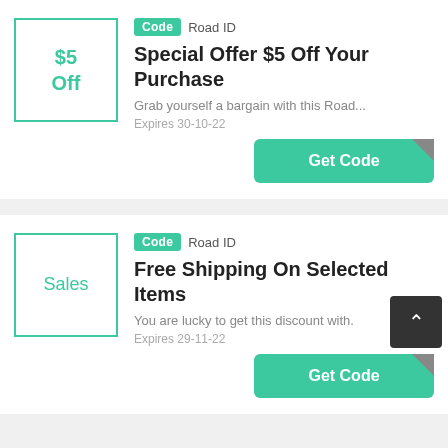[Figure (infographic): Coupon card 1: $5 Off box with teal border, Code badge + Road ID, title 'Special Offer $5 Off Your Purchase', description 'Grab yourself a bargain with this Road...', expires 30-10-22, Get Code button]
[Figure (infographic): Coupon card 2: Sales box with teal border, Code badge + Road ID, title 'Free Shipping On Selected Items', description 'You are lucky to get this discount with.', expires 29-11-22, Get Code button, scroll-to-top dark button]